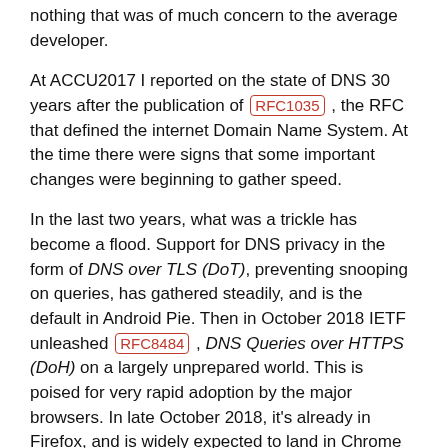nothing that was of much concern to the average developer.
At ACCU2017 I reported on the state of DNS 30 years after the publication of RFC1035, the RFC that defined the internet Domain Name System. At the time there were signs that some important changes were beginning to gather speed.
In the last two years, what was a trickle has become a flood. Support for DNS privacy in the form of DNS over TLS (DoT), preventing snooping on queries, has gathered steadily, and is the default in Android Pie. Then in October 2018 IETF unleashed RFC8484, DNS Queries over HTTPS (DoH) on a largely unprepared world. This is poised for very rapid adoption by the major browsers. In late October 2018, it's already in Firefox, and is widely expected to land in Chrome soon. DoH probably marks a seismic change in how and where name resolution happens, the full consequences of which will only become apparent over time.
In this session, suitable for all-comers, we'll take a run though how DNS is changing, and bring you bang up to date with the very latest DNS technologies. We'll look at what the impact of DoH is likely to be on your systems, and cover what, as a developer, you need to know about these new toys, how you can use them, and where to go to find the information you need should you have to navigate the